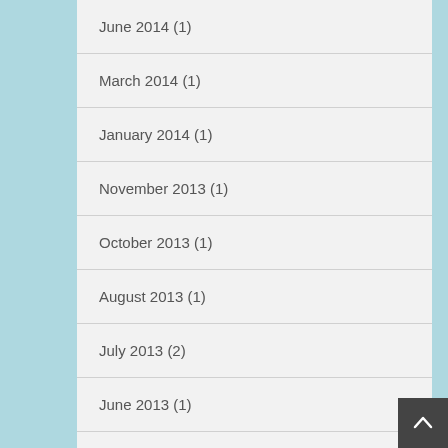June 2014 (1)
March 2014 (1)
January 2014 (1)
November 2013 (1)
October 2013 (1)
August 2013 (1)
July 2013 (2)
June 2013 (1)
May 2013 (1)
April 2013 (2)